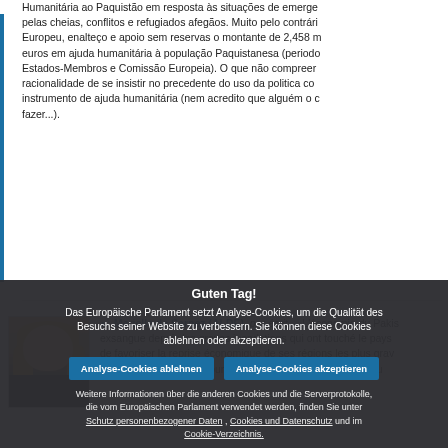Humanitária ao Paquistão em resposta às situações de emergência pelas cheias, conflitos e refugiados afegãos. Muito pelo contrário, Europeu, enalteço e apoio sem reservas o montante de 2,458 m euros em ajuda humanitária à população Paquistanesa (periodo Estados-Membros e Comissão Europeia). O que não compreendo racionalidade de se insistir no precedente do uso da politica co instrumento de ajuda humanitária (nem acredito que alguém o d fazer...).
Marielle de Sarnez (ALDE), par écrit. – L'économie du Pakistan exsangue depuis les graves inondations qui ont touché le pays de favoriser la reprise économique de ses régions les plus gravement touchées de Pakistan pour, jusqu'à la fin de l'année 2013, au
Guten Tag!
Das Europäische Parlament setzt Analyse-Cookies, um die Qualität des Besuchs seiner Website zu verbessern. Sie können diese Cookies ablehnen oder akzeptieren.
Analyse-Cookies ablehnen  Analyse-Cookies akzeptieren
Weitere Informationen über die anderen Cookies und die Serverprotokolle, die vom Europäischen Parlament verwendet werden, finden Sie unter Schutz personenbezogener Daten , Cookies und Datenschutz und im Cookie-Verzeichnis.